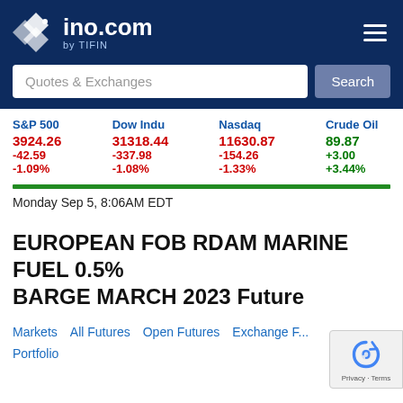ino.com by TIFIN
| S&P 500 | Dow Indu | Nasdaq | Crude Oil |
| --- | --- | --- | --- |
| 3924.26 | 31318.44 | 11630.87 | 89.87 |
| -42.59 | -337.98 | -154.26 | +3.00 |
| -1.09% | -1.08% | -1.33% | +3.44% |
Monday Sep 5, 8:06AM EDT
EUROPEAN FOB RDAM MARINE FUEL 0.5% BARGE MARCH 2023 Future
Markets  All Futures  Open Futures  Exchange  Portfolio